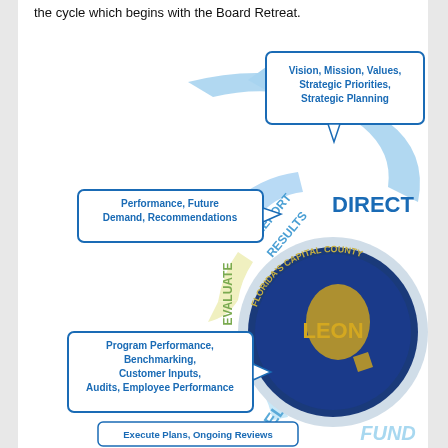the cycle which begins with the Board Retreat.
[Figure (flowchart): Leon County Florida's Capital County strategic management cycle diagram showing circular arrows labeled DIRECT, REPORT RESULTS, EVALUATE, DELIVER, FUND with callout boxes: 'Vision, Mission, Values, Strategic Priorities, Strategic Planning'; 'Performance, Future Demand, Recommendations'; 'Program Performance, Benchmarking, Customer Inputs, Audits, Employee Performance'; 'Execute Plans, Ongoing Reviews' at bottom. Leon County seal in center.]